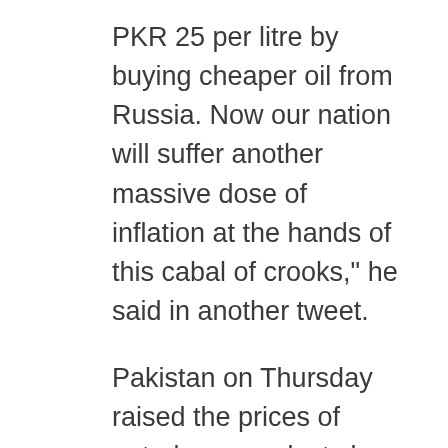PKR 25 per litre by buying cheaper oil from Russia. Now our nation will suffer another massive dose of inflation at the hands of this cabal of crooks," he said in another tweet.
Pakistan on Thursday raised the prices of petroleum products by PKR 30 per litre, stating that the decision was taken to ensure the revival of the International Monetary Fund (IMF) programme.
The price of petrol will be at PKR 179.86, diesel at PKR 174.15, kerosene oil at PKR 155.56 and light diesel at PKR 148.31, the Dawn newspaper reported.